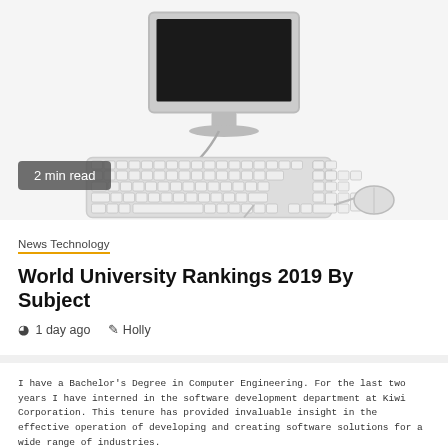[Figure (illustration): Photo/illustration of a desktop computer monitor with a keyboard and mouse on a white background. A '2 min read' badge overlays the lower-left of the image.]
2 min read
News Technology
World University Rankings 2019 By Subject
1 day ago   Holly
I have a Bachelor's Degree in Computer Engineering. For the last two years I have interned in the software development department at Kiwi Corporation. This tenure has provided invaluable insight in the effective operation of developing and creating software solutions for a wide range of industries.
I am ready to take this knowledge in a new direction such as the one offered by your company. W... time with Kiwi has been irreplaceable the fact is your GoldPointe office is closer to home. This wi... commuter time almost by half making it easier to be more flexible with hours and availability. I am... to use my Junior Software Developer skills and experiences to develop maintain and train in software programs improving functionality and company reputation using everything from Java to managing lifecycles. I have defined my abilities in quick problem solving and applying abstract and technical concepts to proven techniques.